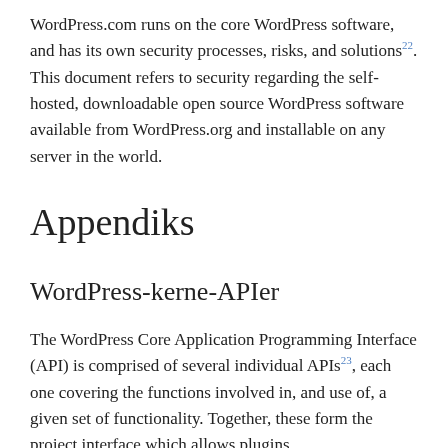WordPress.com runs on the core WordPress software, and has its own security processes, risks, and solutions22. This document refers to security regarding the self-hosted, downloadable open source WordPress software available from WordPress.org and installable on any server in the world.
Appendiks
WordPress-kerne-APIer
The WordPress Core Application Programming Interface (API) is comprised of several individual APIs23, each one covering the functions involved in, and use of, a given set of functionality. Together, these form the project interface which allows plugins